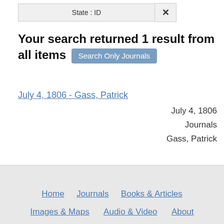State : ID ×
Your search returned 1 result from all items Search Only Journals
July 4, 1806 - Gass, Patrick
July 4, 1806
Journals
Gass, Patrick
Home   Journals   Books & Articles   Images & Maps   Audio & Video   About